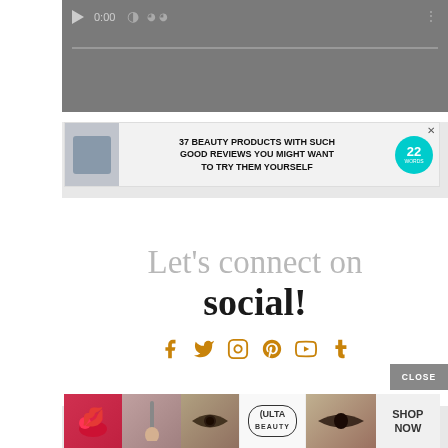[Figure (screenshot): Video player controls on dark gray background showing play button, time 0:00, and progress bar]
[Figure (screenshot): Advertisement banner: '37 BEAUTY PRODUCTS WITH SUCH GOOD REVIEWS YOU MIGHT WANT TO TRY THEM YOURSELF' with teal badge showing 22 WORDS and product jar image]
Let's connect on social!
[Figure (infographic): Social media icons: Facebook, Twitter, Instagram, Pinterest, YouTube, Tumblr in golden/amber color]
[Figure (screenshot): CLOSE button in gray]
[Figure (screenshot): Ulta Beauty advertisement strip at bottom with makeup product images and SHOP NOW button]